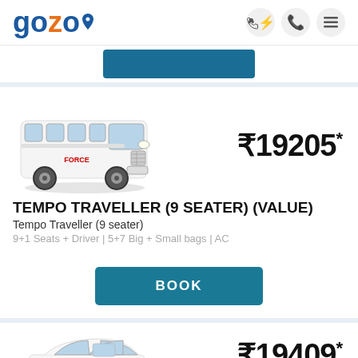[Figure (logo): Gozo logo with location pin icon]
₹19205*
[Figure (photo): Tempo Traveller van vehicle image]
TEMPO TRAVELLER (9 SEATER) (VALUE)
Tempo Traveller (9 seater)
9+1 Seats + Driver | 5+7 Big + Small bags | AC
BOOK
₹19409*
[Figure (photo): Partial car vehicle image at bottom of page]